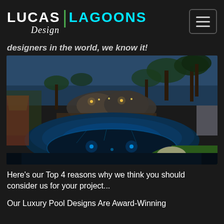LUCAS | LAGOONS DESIGN
designers in the world, we know it!
[Figure (photo): Luxury pool at dusk with blue LED lighting, circular spa/hot tub with mosaic tile, rock waterfall feature with candles, surrounded by palm trees and green lawn]
Here's our Top 4 reasons why we think you should consider us for your project...
Our Luxury Pool Designs Are Award-Winning